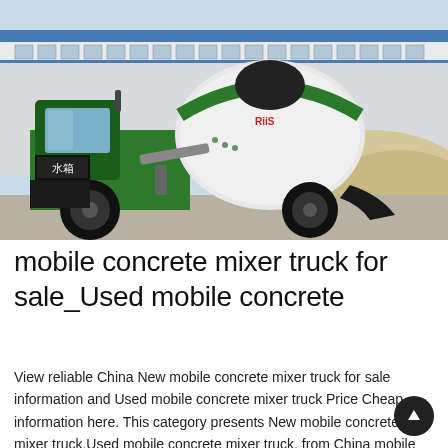[Figure (photo): A green mobile concrete mixer truck (self-loading concrete mixer) parked outdoors in front of a factory building. The truck is green with a large white rotating drum bearing a green stripe and Chinese/brand markings. Chinese text '水箱' is visible on the side of the cab. The background shows a pile of sand/gravel and a blue-and-white industrial building.]
mobile concrete mixer truck for sale_Used mobile concrete
View reliable China New mobile concrete mixer truck for sale information and Used mobile concrete mixer truck Price Cheap information here. This category presents New mobile concrete mixer truck,Used mobile concrete mixer truck, from China mobile concrete mixer truck suppliers